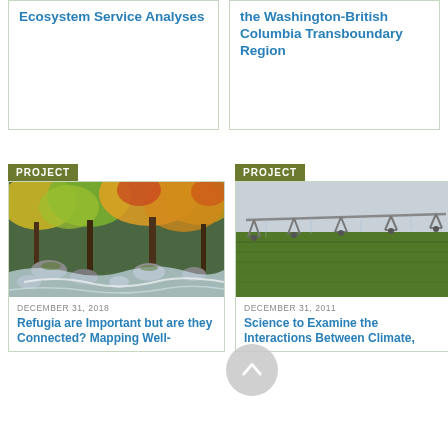Ecosystem Service Analyses
the Washington-British Columbia Transboundary Region
PROJECT
[Figure (photo): A forest stream with rocks and autumn-colored trees, green and yellow foliage, mossy boulders and flowing water]
DECEMBER 31, 2018
Refugia are Important but are they Connected? Mapping Well-
PROJECT
[Figure (photo): A center-pivot irrigation system over a green crop field under a grey overcast sky]
DECEMBER 31, 2011
Science to Examine the Interactions Between Climate,